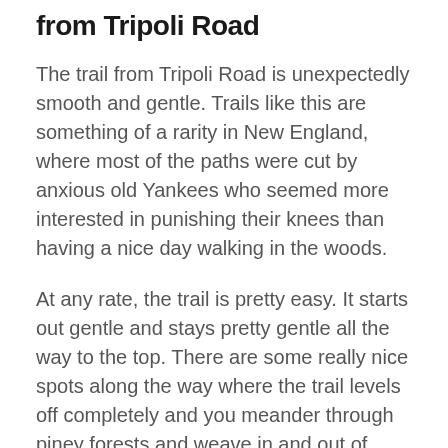from Tripoli Road
The trail from Tripoli Road is unexpectedly smooth and gentle. Trails like this are something of a rarity in New England, where most of the paths were cut by anxious old Yankees who seemed more interested in punishing their knees than having a nice day walking in the woods.
At any rate, the trail is pretty easy. It starts out gentle and stays pretty gentle all the way to the top. There are some really nice spots along the way where the trail levels off completely and you meander through piney forests and weave in and out of hardwoods.
As you near the top, the trail steepens a little and there is a slight scramble, not even a scramble really, just a small climb up a wide flat granite section. It is